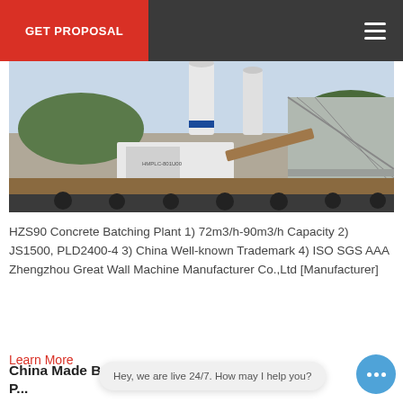GET PROPOSAL
[Figure (photo): HZS90 concrete batching plant equipment at a construction site near a bridge, showing silos, mixing unit, and conveyor belts.]
HZS90 Concrete Batching Plant 1) 72m3/h-90m3/h Capacity 2) JS1500, PLD2400-4 3) China Well-known Trademark 4) ISO SGS AAA Zhengzhou Great Wall Machine Manufacturer Co.,Ltd [Manufacturer]
Learn More
Hey, we are live 24/7. How may I help you?
China Made Brand Mobile Batching Plant P...